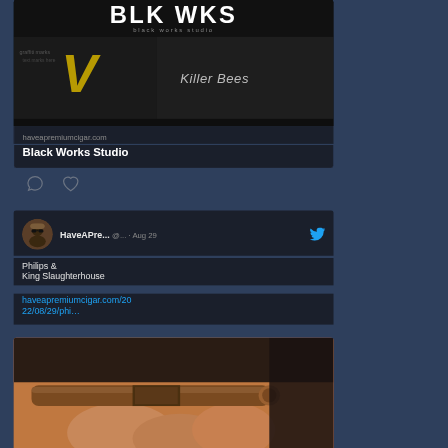[Figure (screenshot): Screenshot of a website preview card showing 'BLK WKS / black workshop' logo with graffiti-style artwork including a gold V symbol and text 'Killer Bees']
haveapremiumcigar.com
Black Works Studio
[Figure (screenshot): Twitter/social post by HaveAPre... (@...) dated Aug 29 with Twitter bird icon]
Philips & King Slaughterhouse
haveapremiumcigar.com/2022/08/29/phi…
[Figure (photo): Close-up photo of a cigar being held by fingers, showing the brown wrapper and band]